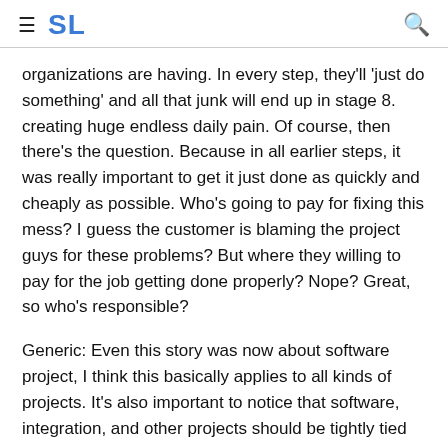≡ SL 🔍
organizations are having. In every step, they'll 'just do something' and all that junk will end up in stage 8. creating huge endless daily pain. Of course, then there's the question. Because in all earlier steps, it was really important to get it just done as quickly and cheaply as possible. Who's going to pay for fixing this mess? I guess the customer is blaming the project guys for these problems? But where they willing to pay for the job getting done properly? Nope? Great, so who's responsible?
Generic: Even this story was now about software project, I think this basically applies to all kinds of projects. It's also important to notice that software, integration, and other projects should be tightly tied with business processes and goals. If something is only a software project, it will probably end up badly. Or if it's just about building a